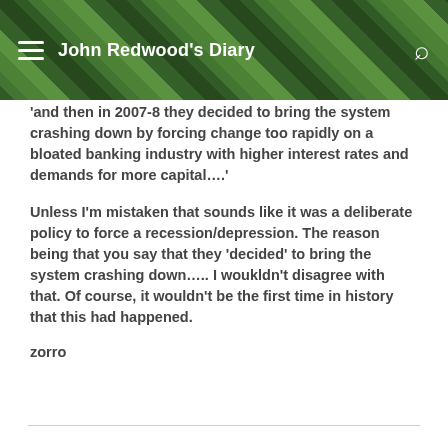John Redwood's Diary
'and then in 2007-8 they decided to bring the system crashing down by forcing change too rapidly on a bloated banking industry with higher interest rates and demands for more capital….'
Unless I'm mistaken that sounds like it was a deliberate policy to force a recession/depression. The reason being that you say that they 'decided' to bring the system crashing down….. I woukldn't disagree with that. Of course, it wouldn't be the first time in history that this had happened.
zorro